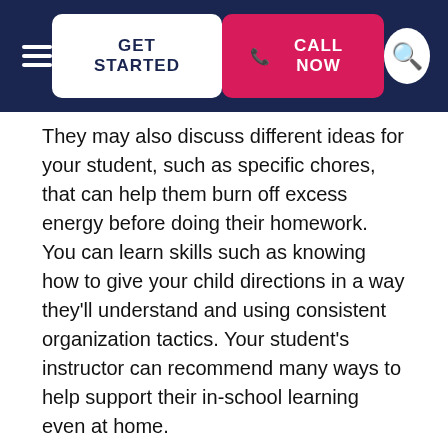GET STARTED | CALL NOW
They may also discuss different ideas for your student, such as specific chores, that can help them burn off excess energy before doing their homework. You can learn skills such as knowing how to give your child directions in a way they'll understand and using consistent organization tactics. Your student's instructor can recommend many ways to help support their in-school learning even at home.
Phoenix tutoring for students with ADHD can offer many benefits that are as unique as your child and their individual needs. The one-on-one study sessions let your student build a relationship with their instructor. Building this rapport is important because it can encourage your student to be honest with their mentor about any academic struggles they are facing, as well as providing them with accountability. Your